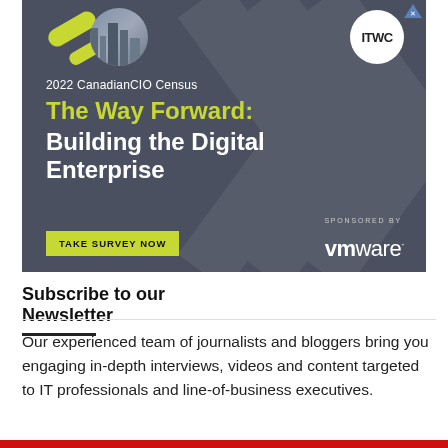[Figure (infographic): Advertisement banner for 2022 CanadianCIO Census. Dark gray-blue background with ITWC logo in white circle top right, lime green accent bars and city image top left, text reading '2022 CanadianCIO Census / The Way Forward: / Building the Digital Enterprise', 'SPONSORED BY' label, 'TAKE SURVEY NOW' button in lime green, and VMware logo in white.]
Subscribe to our Newsletter
Our experienced team of journalists and bloggers bring you engaging in-depth interviews, videos and content targeted to IT professionals and line-of-business executives.